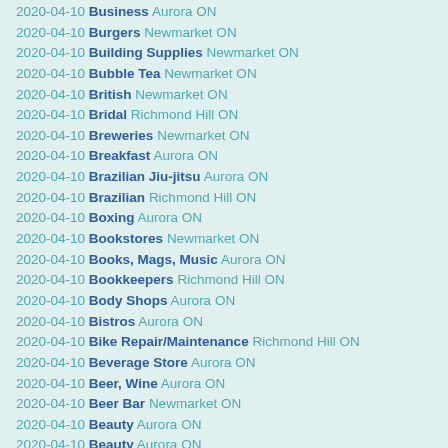2020-04-10 Business Aurora ON
2020-04-10 Burgers Newmarket ON
2020-04-10 Building Supplies Newmarket ON
2020-04-10 Bubble Tea Newmarket ON
2020-04-10 British Newmarket ON
2020-04-10 Bridal Richmond Hill ON
2020-04-10 Breweries Newmarket ON
2020-04-10 Breakfast Aurora ON
2020-04-10 Brazilian Jiu-jitsu Aurora ON
2020-04-10 Brazilian Richmond Hill ON
2020-04-10 Boxing Aurora ON
2020-04-10 Bookstores Newmarket ON
2020-04-10 Books, Mags, Music Aurora ON
2020-04-10 Bookkeepers Richmond Hill ON
2020-04-10 Body Shops Aurora ON
2020-04-10 Bistros Aurora ON
2020-04-10 Bike Repair/Maintenance Richmond Hill ON
2020-04-10 Beverage Store Aurora ON
2020-04-10 Beer, Wine Aurora ON
2020-04-10 Beer Bar Newmarket ON
2020-04-10 Beauty Aurora ON
2020-04-10 Beauty Aurora ON
2020-04-10 Bars Aurora ON